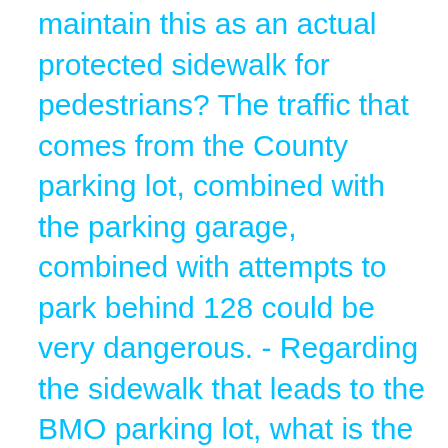maintain this as an actual protected sidewalk for pedestrians? The traffic that comes from the County parking lot, combined with the parking garage, combined with attempts to park behind 128 could be very dangerous. - Regarding the sidewalk that leads to the BMO parking lot, what is the proposed route for pedestrians to get to Quebec St? Through the parking lot? Through a notorious walkway? - Chapel Lane is used heavily by delivery vehicles for the local businesses, the new design does not appear to reflect the reality that delivery vehicles will be back there often. What accommodations will be made so we don't have vehicles simply turning on their hazards and blocking traffic? Alternatively, if the volume of current traffic on Chapel is